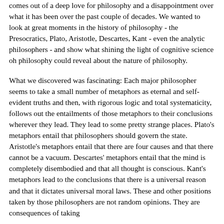light of cognitive science oh philosophy could reveal about the nature of philosophy. comes out of a deep love for philosophy and a disappointment over what it has been over the past couple of decades. We wanted to look at great moments in the history of philosophy - the Presocratics, Plato, Aristotle, Descartes, Kant - even the analytic philosophers - and show what shining the light of cognitive science oh philosophy could reveal about the nature of philosophy.
What we discovered was fascinating: Each major philosopher seems to take a small number of metaphors as eternal and self-evident truths and then, with rigorous logic and total systematicity, follows out the entailments of those metaphors to their conclusions wherever they lead. They lead to some pretty strange places. Plato's metaphors entail that philosophers should govern the state. Aristotle's metaphors entail that there are four causes and that there cannot be a vacuum. Descartes' metaphors entail that the mind is completely disembodied and that all thought is conscious. Kant's metaphors lead to the conclusions that there is a universal reason and that it dictates universal moral laws. These and other positions taken by those philosophers are not random opinions. They are consequences of taking